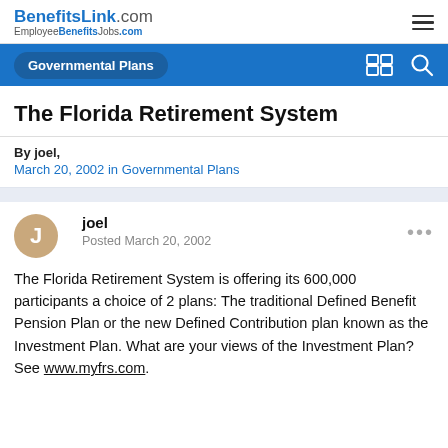BenefitsLink.com EmployeeBenefitsJobs.com
Governmental Plans
The Florida Retirement System
By joel,
March 20, 2002 in Governmental Plans
joel
Posted March 20, 2002
The Florida Retirement System is offering its 600,000 participants a choice of 2 plans: The traditional Defined Benefit Pension Plan or the new Defined Contribution plan known as the Investment Plan. What are your views of the Investment Plan? See www.myfrs.com.